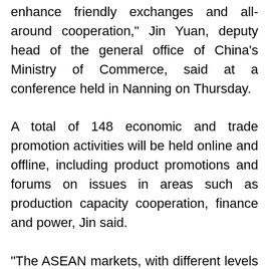enhance friendly exchanges and all-around cooperation," Jin Yuan, deputy head of the general office of China's Ministry of Commerce, said at a conference held in Nanning on Thursday.
A total of 148 economic and trade promotion activities will be held online and offline, including product promotions and forums on issues in areas such as production capacity cooperation, finance and power, Jin said.
"The ASEAN markets, with different levels of development and resource endowment,